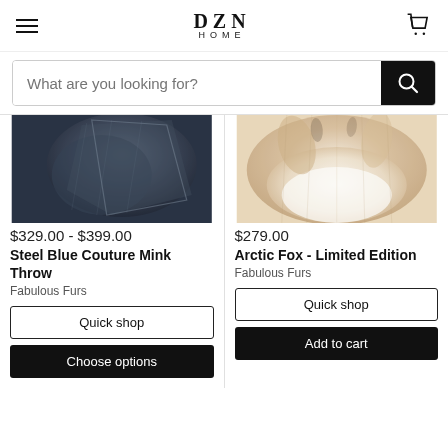DZN HOME
What are you looking for?
[Figure (photo): Steel blue mink throw fabric folded, showing dark blue-grey fur texture]
$329.00 - $399.00
Steel Blue Couture Mink Throw
Fabulous Furs
Quick shop
Choose options
[Figure (photo): Arctic fox fur throw, showing white and tan fur texture with tails]
$279.00
Arctic Fox - Limited Edition
Fabulous Furs
Quick shop
Add to cart